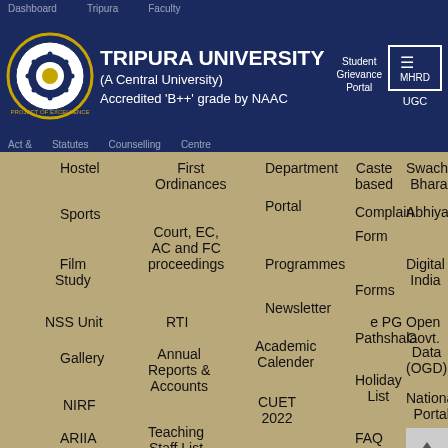TRIPURA UNIVERSITY (A Central University) Accredited 'B++' grade by NAAC
Hostel
First Ordinances
Department Portal
Caste based Complain Form
Swachh Bharat Abhiyan
Sports
Court, EC, AC and FC proceedings
Programmes
Forms
Digital India
Film Study
Newsletter
NSS Unit
RTI
e PG Pathshala
Open Govt. Data (OGD)
Gallery
Academic Calender
Annual Reports & Accounts
Holiday List
NIRF
CUET 2022
ARIIA
Teaching Staff List
FAQ
National Portal India
IQAC
Best Practices
AICTE
AQAR
Organisational Structure